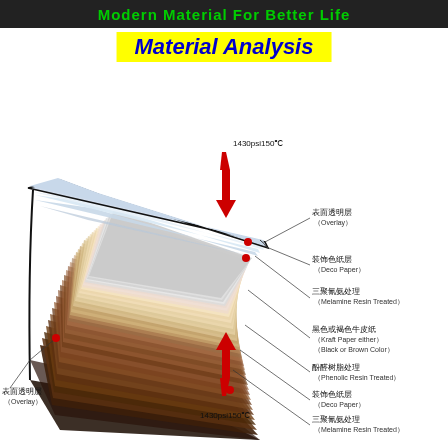Modern Material For Better Life
Material Analysis
[Figure (engineering-diagram): Cross-section diagram of laminate material layers showing: surface overlay (表面透明层/Overlay), decorative color paper (装饰色纸层/Deco Paper), melamine resin treated layers (三聚氰氨处理/Melamine Resin Treated), kraft paper core (黑色或褐色牛皮纸/Kraft Paper either Black or Brown Color), phenolic resin treated layers (酚醛树脂处理/Phenolic Resin Treated), with red arrows indicating pressure of 1430psi/150°C applied from top and bottom.]